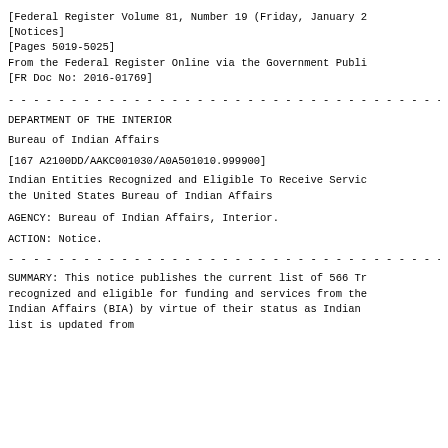[Federal Register Volume 81, Number 19 (Friday, January 2
[Notices]
[Pages 5019-5025]
From the Federal Register Online via the Government Publi
[FR Doc No: 2016-01769]
DEPARTMENT OF THE INTERIOR
Bureau of Indian Affairs
[167 A2100DD/AAKC001030/A0A501010.999900]
Indian Entities Recognized and Eligible To Receive Servic
the United States Bureau of Indian Affairs
AGENCY: Bureau of Indian Affairs, Interior.
ACTION: Notice.
SUMMARY: This notice publishes the current list of 566 Tr
recognized and eligible for funding and services from the
Indian Affairs (BIA) by virtue of their status as Indian
list is updated from